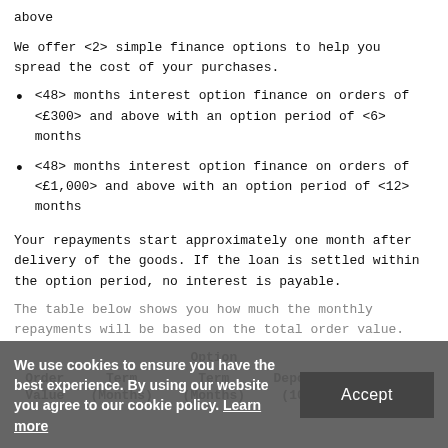above
We offer <2> simple finance options to help you spread the cost of your purchases.
<48> months interest option finance on orders of <£300> and above with an option period of <6> months
<48> months interest option finance on orders of <£1,000> and above with an option period of <12> months
Your repayments start approximately one month after delivery of the goods. If the loan is settled within the option period, no interest is payable.
The table below shows you how much the monthly repayments will be based on the total order value.
| Order Value | Term (Months) | Option Term (Months) | Deposit (10%) | Monthly Payments |
| --- | --- | --- | --- | --- |